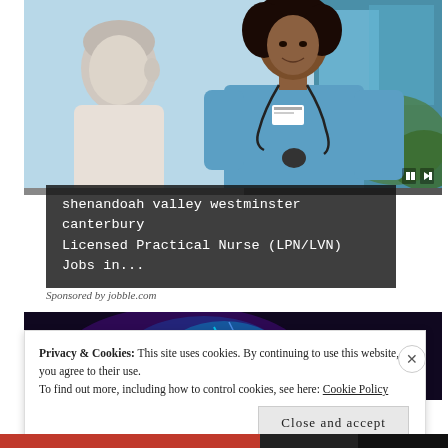[Figure (photo): A smiling Black female nurse in blue scrubs with a stethoscope talking with an elderly white-haired male patient. Indoor clinical setting.]
shenandoah valley westminster canterbury Licensed Practical Nurse (LPN/LVN) Jobs in...
Sponsored by jobble.com
[Figure (photo): A person holding gym dumbbells with neon blue/purple lighting effect in the background.]
Privacy & Cookies: This site uses cookies. By continuing to use this website, you agree to their use. To find out more, including how to control cookies, see here: Cookie Policy
Close and accept